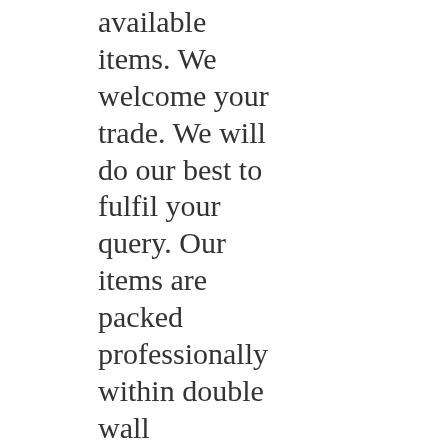available items. We welcome your trade. We will do our best to fulfil your query. Our items are packed professionally within double wall corrugated cartons. We always use